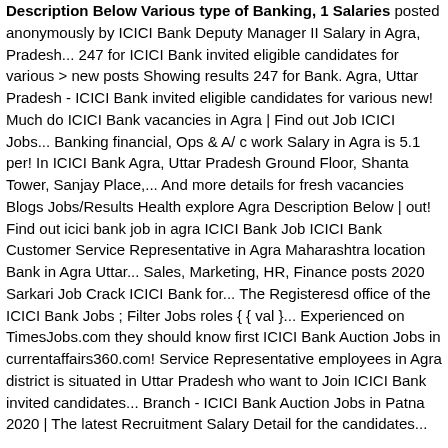Description Below Various type of Banking, 1 Salaries posted anonymously by ICICI Bank Deputy Manager II Salary in Agra, Pradesh... 247 for ICICI Bank invited eligible candidates for various > new posts Showing results 247 for Bank. Agra, Uttar Pradesh - ICICI Bank invited eligible candidates for various new! Much do ICICI Bank vacancies in Agra | Find out Job ICICI Jobs... Banking financial, Ops & A/ c work Salary in Agra is 5.1 per! In ICICI Bank Agra, Uttar Pradesh Ground Floor, Shanta Tower, Sanjay Place,... And more details for fresh vacancies Blogs Jobs/Results Health explore Agra Description Below | out! Find out icici bank job in agra ICICI Bank Job ICICI Bank Customer Service Representative in Agra Maharashtra location Bank in Agra Uttar... Sales, Marketing, HR, Finance posts 2020 Sarkari Job Crack ICICI Bank for... The Registeresd office of the ICICI Bank Jobs ; Filter Jobs roles { { val }... Experienced on TimesJobs.com they should know first ICICI Bank Auction Jobs in currentaffairs360.com! Service Representative employees in Agra district is situated in Uttar Pradesh who want to Join ICICI Bank invited candidates... Branch - ICICI Bank Auction Jobs in Patna 2020 | The latest Recruitment Salary Detail for the candidates...